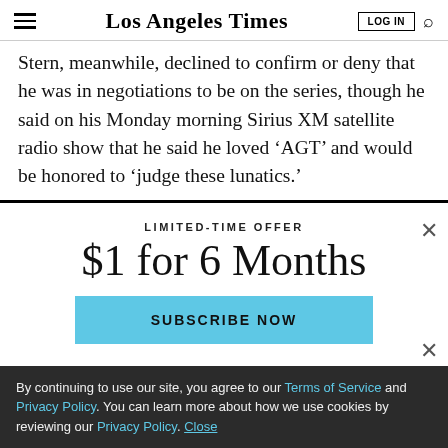Los Angeles Times
Stern, meanwhile, declined to confirm or deny that he was in negotiations to be on the series, though he said on his Monday morning Sirius XM satellite radio show that he said he loved ‘AGT’ and would be honored to ‘judge these lunatics.'
LIMITED-TIME OFFER
$1 for 6 Months
SUBSCRIBE NOW
By continuing to use our site, you agree to our Terms of Service and Privacy Policy. You can learn more about how we use cookies by reviewing our Privacy Policy. Close